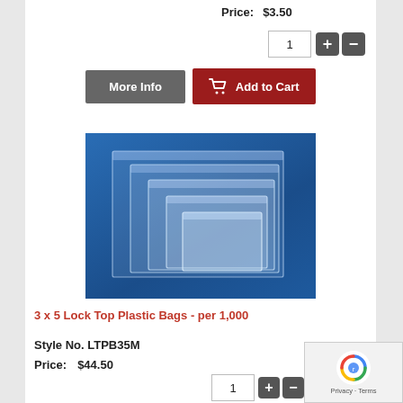Price:   $3.50
[Figure (screenshot): UI quantity input field with + and - buttons]
[Figure (screenshot): 'More Info' gray button and 'Add to Cart' dark red button with shopping cart icon]
[Figure (photo): Stack of clear plastic lock-top bags on blue background, various sizes]
3 x 5 Lock Top Plastic Bags - per 1,000
Style No. LTPB35M
Price:    $44.50
[Figure (screenshot): UI quantity input with value 1, plus and minus buttons]
[Figure (screenshot): 'More Info' gray button and 'Add to Cart' dark red button]
[Figure (screenshot): reCAPTCHA badge with Privacy and Terms links]
[Figure (photo): Partial view of another product photo on blue background at bottom of page]